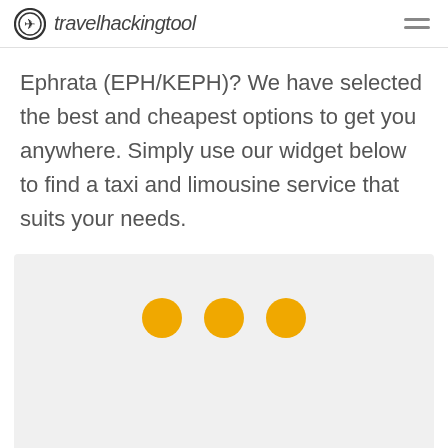travelhackingtool
Ephrata (EPH/KEPH)? We have selected the best and cheapest options to get you anywhere. Simply use our widget below to find a taxi and limousine service that suits your needs.
[Figure (other): Loading widget area with three orange dots indicating content is loading]